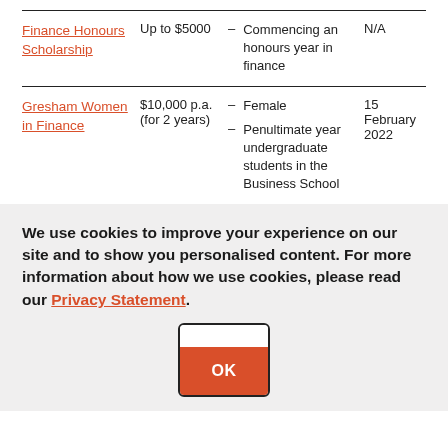| Scholarship | Amount | Criteria | Deadline |
| --- | --- | --- | --- |
| Finance Honours Scholarship | Up to $5000 | – Commencing an honours year in finance | N/A |
| Gresham Women in Finance | $10,000 p.a. (for 2 years) | – Female
– Penultimate year undergraduate students in the Business School | 15 February 2022 |
We use cookies to improve your experience on our site and to show you personalised content. For more information about how we use cookies, please read our Privacy Statement.